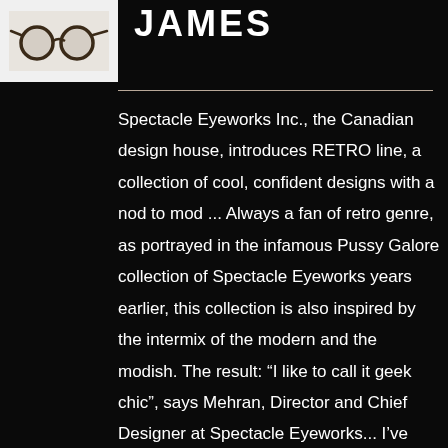[Figure (photo): Photo of retro-style round eyeglasses (tortoiseshell/dark frames) on a light background]
JAMES
Spectacle Eyeworks Inc., the Canadian design house, introduces RETRO line, a collection of cool, confident designs with a nod to mod ... Always a fan of retro genre, as portrayed in the infamous Pussy Galore collection of Spectacle Eyeworks years earlier, this collection is also inspired by the intermix of the modern and the modish. The result: “I like to call it geek chic”, says Mehran, Director and Chief Designer at Spectacle Eyeworks... I’ve always been into more of the Geek